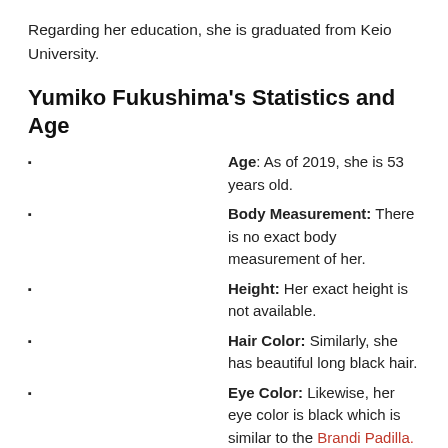Regarding her education, she is graduated from Keio University.
Yumiko Fukushima's Statistics and Age
Age: As of 2019, she is 53 years old.
Body Measurement: There is no exact body measurement of her.
Height: Her exact height is not available.
Hair Color: Similarly, she has beautiful long black hair.
Eye Color: Likewise, her eye color is black which is similar to the Brandi Padilla.
Yumiko Fukushima's Relationship History
Yumiko Fukushima has maintained her personal life